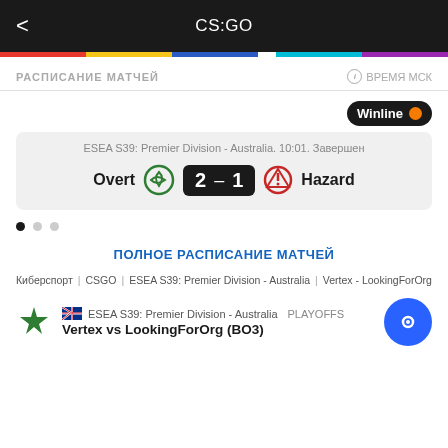CS:GO
РАСПИСАНИЕ МАТЧЕЙ
ВРЕМЯ МСК
[Figure (logo): Winline badge with orange dot]
ESEA S39: Premier Division - Australia. 10:01. Завершен
Overt 2 – 1 Hazard
ПОЛНОЕ РАСПИСАНИЕ МАТЧЕЙ
Киберспорт | CSGO | ESEA S39: Premier Division - Australia | Vertex - LookingForOrg
ESEA S39: Premier Division - Australia PLAYOFFS
Vertex vs LookingForOrg (BO3)